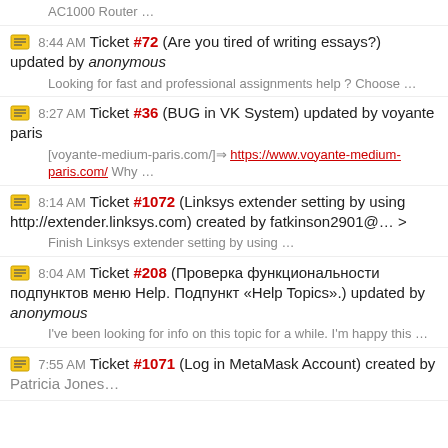AC1000 Router …
8:44 AM Ticket #72 (Are you tired of writing essays?) updated by anonymous
Looking for fast and professional assignments help ? Choose …
8:27 AM Ticket #36 (BUG in VK System) updated by voyante paris
[voyante-medium-paris.com/]⇒ https://www.voyante-medium-paris.com/ Why …
8:14 AM Ticket #1072 (Linksys extender setting by using http://extender.linksys.com) created by fatkinson2901@… >
Finish Linksys extender setting by using …
8:04 AM Ticket #208 (Проверка функциональности подпунктов меню Help. Подпункт «Help Topics».) updated by anonymous
I've been looking for info on this topic for a while. I'm happy this …
7:55 AM Ticket #1071 (Log in MetaMask Account) created by Patricia Jones…